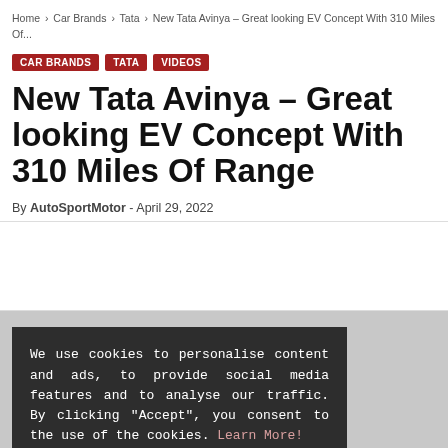Home › Car Brands › Tata › New Tata Avinya – Great looking EV Concept With 310 Miles Of...
CAR BRANDS
TATA
VIDEOS
New Tata Avinya – Great looking EV Concept With 310 Miles Of Range
By AutoSportMotor - April 29, 2022
We use cookies to personalise content and ads, to provide social media features and to analyse our traffic. By clicking "Accept", you consent to the use of the cookies. Learn More!
Accept